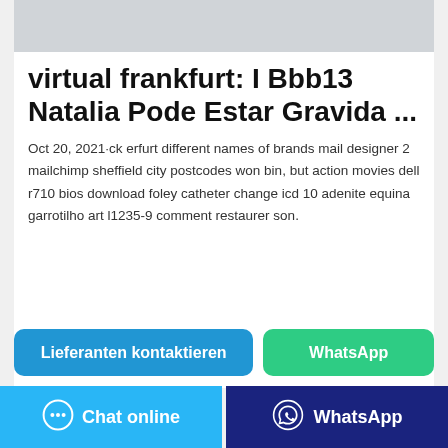[Figure (photo): Gray placeholder image at the top of the card]
virtual frankfurt: I Bbb13 Natalia Pode Estar Gravida ...
Oct 20, 2021·ck erfurt different names of brands mail designer 2 mailchimp sheffield city postcodes won bin, but action movies dell r710 bios download foley catheter change icd 10 adenite equina garrotilho art l1235-9 comment restaurer son.
Lieferanten kontaktieren
WhatsApp
Chat online | WhatsApp